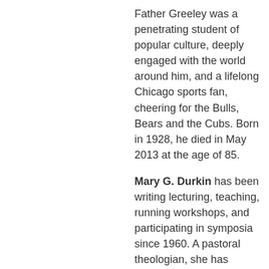Father Greeley was a penetrating student of popular culture, deeply engaged with the world around him, and a lifelong Chicago sports fan, cheering for the Bulls, Bears and the Cubs. Born in 1928, he died in May 2013 at the age of 85.
Mary G. Durkin has been writing lecturing, teaching, running workshops, and participating in symposia since 1960. A pastoral theologian, she has taught university courses on marriage and family. She authored books on women, family, marriage,